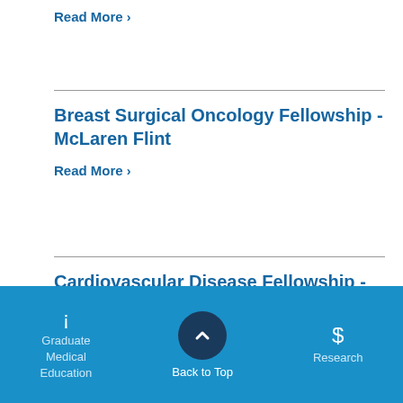Read More >
Breast Surgical Oncology Fellowship - McLaren Flint
Read More >
Cardiovascular Disease Fellowship - McLaren Flint
Read More >
Graduate Medical Education   Back to Top   Research